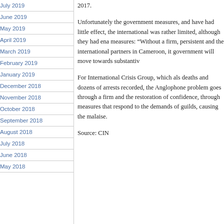July 2019
June 2019
May 2019
April 2019
March 2019
February 2019
January 2019
December 2018
November 2018
October 2018
September 2018
August 2018
July 2018
June 2018
May 2018
2017.
Unfortunately the government measures, and have had little effect, the international was rather limited, although they had ena measures: “Without a firm, persistent and the international partners in Cameroon, it government will move towards substantiv
For International Crisis Group, which als deaths and dozens of arrests recorded, the Anglophone problem goes through a firm and the restoration of confidence, through measures that respond to the demands of guilds, causing the malaise.
Source: CIN